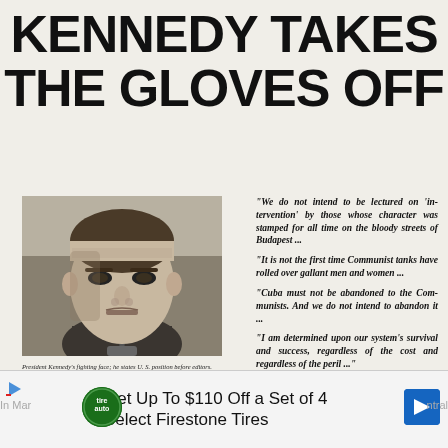KENNEDY TAKES THE GLOVES OFF
[Figure (photo): Black and white photograph of President Kennedy with a serious, determined expression, facing slightly left, wearing a suit and tie.]
President Kennedy's fighting face; he states U. S. position before editors.
"We do not intend to be lectured on 'intervention' by those whose character was stamped for all time on the bloody streets of Budapest ...
"It is not the first time Communist tanks have rolled over gallant men and women ...
"Cuba must not be abandoned to the Communists. And we do not intend to abandon it ...
"I am determined upon our system's survival and success, regardless of the cost and regardless of the peril ..."
Story on page 2
Get Up To $110 Off a Set of 4 Select Firestone Tires
In Mar... ntral